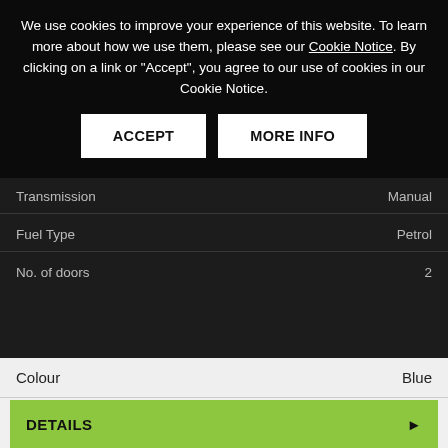Transmission: Manual
Fuel Type: Petrol
No. of doors: 2
Colour: Blue
DETAILS
[Figure (screenshot): Cookie consent overlay on a used car listing website. Shows cookie notice text and two buttons: ACCEPT and MORE INFO. Behind the overlay are visible car spec rows (Transmission: Manual, Fuel Type: Petrol, No. of doors: 2) and a Colour: Blue row, a green DETAILS button, and a photo of a white Hyundai i40 in a car yard with a green car beside it. Photo thumbnail shows image count badge with 19.]
We use cookies to improve your experience of this website. To learn more about how we use them, please see our Cookie Notice. By clicking on a link or "Accept", you agree to our use of cookies in our Cookie Notice.